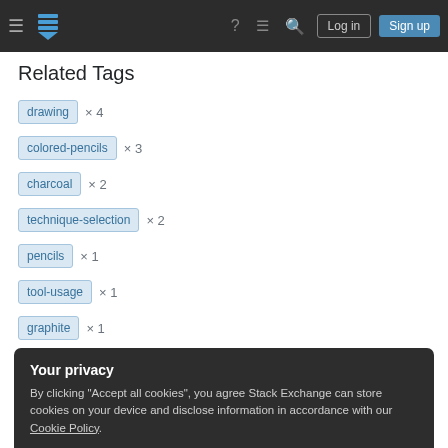Stack Exchange navigation bar with Log in and Sign up buttons
Related Tags
drawing × 4
colored-pencils × 3
charcoal × 2
technique-selection × 2
pencils × 1
tool-usage × 1
graphite × 1
Your privacy
By clicking "Accept all cookies", you agree Stack Exchange can store cookies on your device and disclose information in accordance with our Cookie Policy.
Accept all cookies  Customize settings
Hot Network Questions